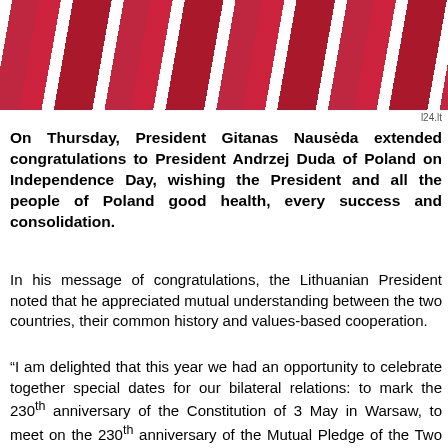[Figure (photo): Photo of red and white Polish flag or ribbons, draped fabric in red and white colors]
l24.lt
On Thursday, President Gitanas Nausėda extended congratulations to President Andrzej Duda of Poland on Independence Day, wishing the President and all the people of Poland good health, every success and consolidation.
In his message of congratulations, the Lithuanian President noted that he appreciated mutual understanding between the two countries, their common history and values-based cooperation.
“I am delighted that this year we had an opportunity to celebrate together special dates for our bilateral relations: to mark the 230th anniversary of the Constitution of 3 May in Warsaw, to meet on the 230th anniversary of the Mutual Pledge of the Two Nations in Vilnius and to commemorate the 500th anniversary of the bell of Sigismund the Old in Kraków.